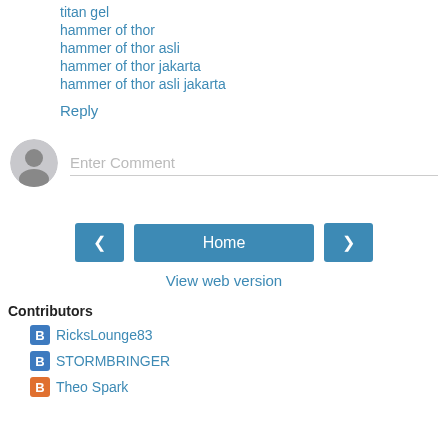titan gel
hammer of thor
hammer of thor asli
hammer of thor jakarta
hammer of thor asli jakarta
Reply
Enter Comment
Home
View web version
Contributors
RicksLounge83
STORMBRINGER
Theo Spark